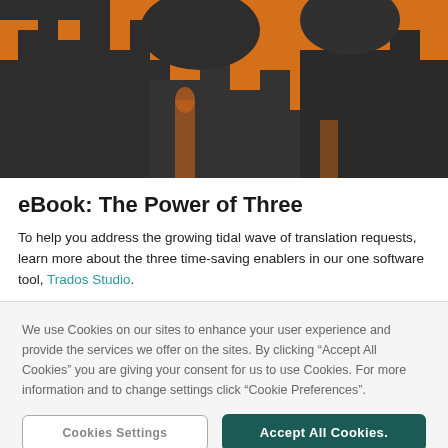[Figure (illustration): Orange and dark grey/charcoal illustrated hero image showing silhouetted industrial or architectural structures against an orange background.]
eBook: The Power of Three
To help you address the growing tidal wave of translation requests, learn more about the three time-saving enablers in our one software tool, Trados Studio.
We use Cookies on our sites to enhance your user experience and provide the services we offer on the sites. By clicking “Accept All Cookies” you are giving your consent for us to use Cookies. For more information and to change settings click “Cookie Preferences”.